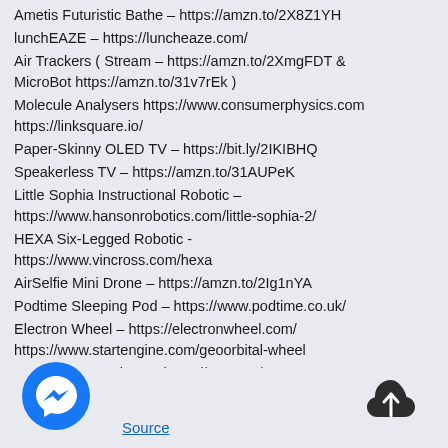Ametis Futuristic Bathe – https://amzn.to/2X8Z1YH
lunchEAZE – https://luncheaze.com/
Air Trackers ( Stream – https://amzn.to/2XmgFDT & MicroBot https://amzn.to/31v7rEk )
Molecule Analysers https://www.consumerphysics.com https://linksquare.io/
Paper-Skinny OLED TV – https://bit.ly/2IKIBHQ
Speakerless TV – https://amzn.to/31AUPeK
Little Sophia Instructional Robotic – https://www.hansonrobotics.com/little-sophia-2/
HEXA Six-Legged Robotic - https://www.vincross.com/hexa
AirSelfie Mini Drone – https://amzn.to/2Ig1nYA
Podtime Sleeping Pod – https://www.podtime.co.uk/
Electron Wheel – https://electronwheel.com/ https://www.startengine.com/geoorbital-wheel
Translating Earphones https://amzn.to/2KSzI1J https://retailer.google.com/product/google_pixel_buds
t – https://www.esighteyewear.com
Source